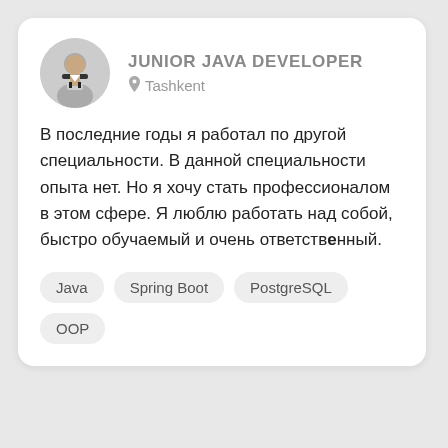JUNIOR JAVA DEVELOPER
Tashkent
В последние годы я работал по другой специальности. В данной специальности опыта нет. Но я хочу стать профессионалом в этом сфере. Я люблю работать над собой, быстро обучаемый и очень ответственный.
Java
Spring Boot
PostgreSQL
OOP